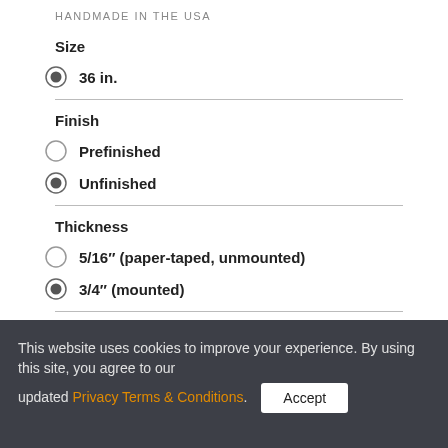HANDMADE IN THE USA
Size
36 in.
Finish
Prefinished
Unfinished
Thickness
5/16" (paper-taped, unmounted)
3/4" (mounted)
1  $2,691.00
This website uses cookies to improve your experience. By using this site, you agree to our updated Privacy Terms & Conditions. Accept